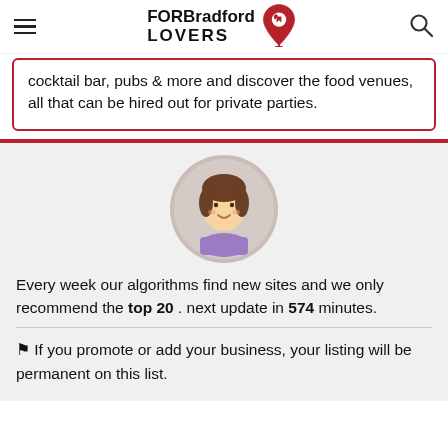FOR Bradford LOVERS
cocktail bar, pubs & more and discover the food venues, all that can be hired out for private parties.
[Figure (illustration): Avatar illustration of a cartoon woman with brown hair and purple top, inside a circular gray frame]
Every week our algorithms find new sites and we only recommend the top 20 . next update in 574 minutes.
⚑ If you promote or add your business, your listing will be permanent on this list.